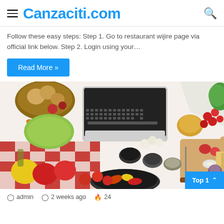Canzaciti.com
Follow these easy steps: Step 1. Go to restaurant wijire page via official link below. Step 2. Login using your…
Read More »
[Figure (photo): Overhead flat-lay photo of a laptop surrounded by fresh vegetables (carrots, tomatoes, peppers, zucchini, onions, garlic), cutting boards with knives, spice bowls, pasta, and a red checkered tablecloth. A pan with sautéed vegetables is visible at the bottom.]
admin   2 weeks ago   24